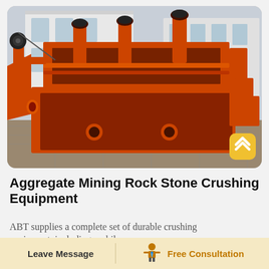[Figure (photo): Large orange aggregate mining/crushing machine with cylindrical tanks and metal framework, photographed outdoors in a factory yard with white building in background]
Aggregate Mining Rock Stone Crushing Equipment
ABT supplies a complete set of durable crushing equipment, including mobile
Leave Message    Free Consultation